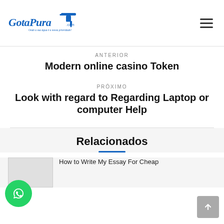GotaPura.com — Onde a sua água é a nossa prioridade!
ANTERIOR
Modern online casino Token
PRÓXIMO
Look with regard to Regarding Laptop or computer Help
Relacionados
How to Write My Essay For Cheap